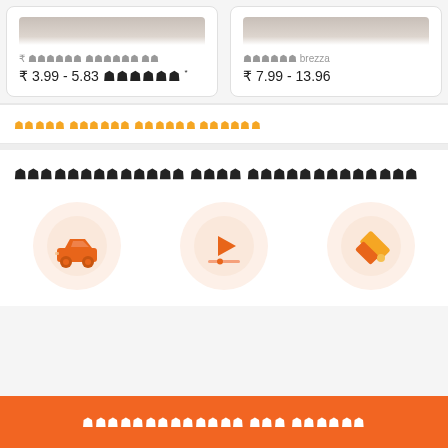मारुति सुजुकी ऑल्टो — ₹ 3.99 - 5.83 लाखों *
मारुति brezza — ₹ 7.99 - 13.96
अपना बजट दर्ज़ करके खोजें
एक्सप्लोरर कारो एक्सप्लोरर
[Figure (illustration): Orange car icon in a circular peach background]
[Figure (illustration): Video play button icon on orange bar in circular peach background]
[Figure (illustration): Orange scissors/cut tool icon in circular peach background]
एक्सप्लोरर कार खोजें